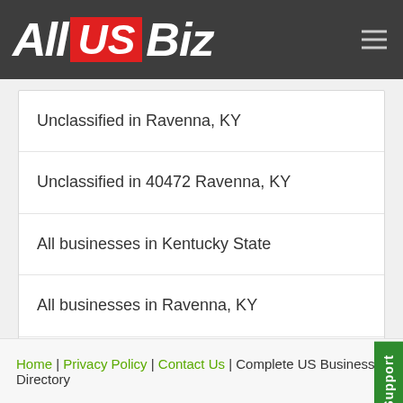All US Biz
Unclassified in Ravenna, KY
Unclassified in 40472 Ravenna, KY
All businesses in Kentucky State
All businesses in Ravenna, KY
All businesses in 40472 Ravenna, KY
Home | Privacy Policy | Contact Us | Complete US Business Directory